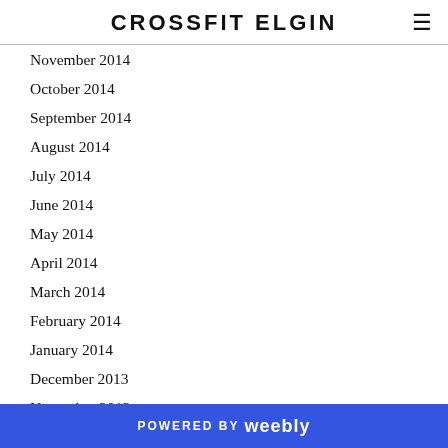CROSSFIT ELGIN
November 2014
October 2014
September 2014
August 2014
July 2014
June 2014
May 2014
April 2014
March 2014
February 2014
January 2014
December 2013
November 2013
October 2013
September 2013
POWERED BY weebly